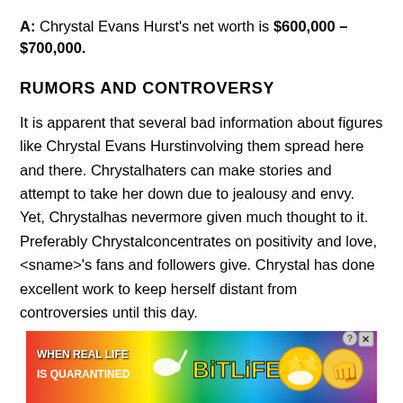A: Chrystal Evans Hurst's net worth is $600,000 – $700,000.
RUMORS AND CONTROVERSY
It is apparent that several bad information about figures like Chrystal Evans Hurstinvolving them spread here and there. Chrystalhaters can make stories and attempt to take her down due to jealousy and envy. Yet, Chrystalhas nevermore given much thought to it. Preferably Chrystalconcentrates on positivity and love, <sname>'s fans and followers give. Chrystal has done excellent work to keep herself distant from controversies until this day.
[Figure (other): BitLife mobile game advertisement banner with rainbow gradient background, text 'WHEN REAL LIFE IS QUARANTINED', sperm emoji, BitLife logo in yellow, star-eyes emoji and fist bump emoji, with question mark and X close buttons]